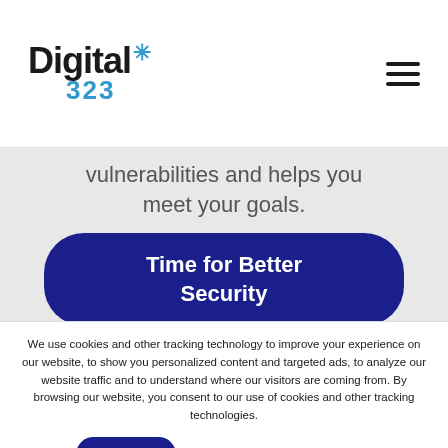[Figure (logo): Digital323 logo with blue starburst/asterisk accent and blue '323' text below]
[Figure (other): Hamburger menu icon (three horizontal lines)]
vulnerabilities and helps you meet your goals.
[Figure (other): Dark navy rounded button with text 'Time for Better Security']
We use cookies and other tracking technology to improve your experience on our website, to show you personalized content and targeted ads, to analyze our website traffic and to understand where our visitors are coming from. By browsing our website, you consent to our use of cookies and other tracking technologies.
I AGREE
Learn more about how we use cookies
Change Preferences